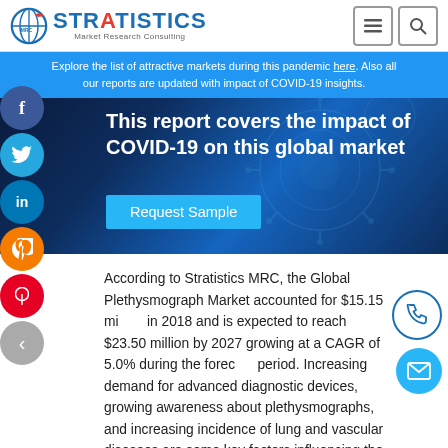Stratistics Market Research Consulting
Explore the list of attractive markets during this pandemic here. Also all our reports are updated with impact of COVID-19 insights.
This report covers the impact of COVID-19 on this global market
Request Sample
According to Stratistics MRC, the Global Plethysmograph Market accounted for $15.15 million in 2018 and is expected to reach $23.50 million by 2027 growing at a CAGR of 5.0% during the forecast period. Increasing demand for advanced diagnostic devices, growing awareness about plethysmographs, and increasing incidence of lung and vascular diseases are some key factors influencing the market